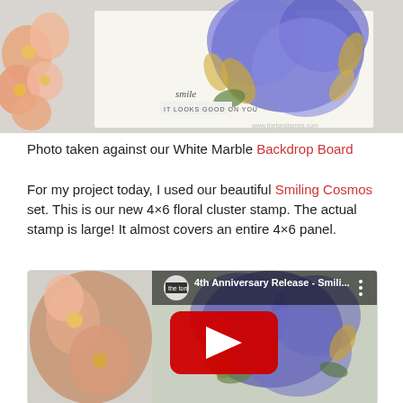[Figure (photo): Photo of floral stamp card with blue and gold cosmos flowers on white background, the ton stamps watermark visible, placed against white marble backdrop board]
Photo taken against our White Marble Backdrop Board
For my project today, I used our beautiful Smiling Cosmos set. This is our new 4×6 floral cluster stamp. The actual stamp is large! It almost covers an entire 4×6 panel.
[Figure (screenshot): YouTube video thumbnail showing '4th Anniversary Release - Smili...' with the ton channel logo, blue and gold cosmos flowers visible, large red YouTube play button in center]